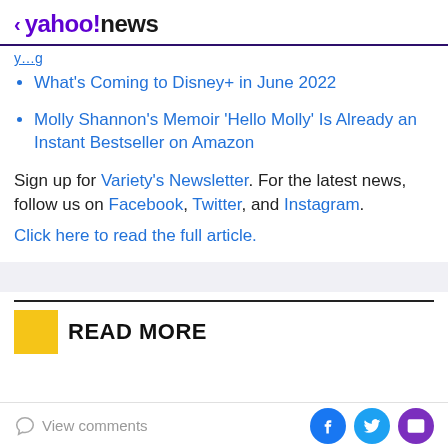< yahoo!news
(truncated link text in blue)
What's Coming to Disney+ in June 2022
Molly Shannon's Memoir 'Hello Molly' Is Already an Instant Bestseller on Amazon
Sign up for Variety's Newsletter. For the latest news, follow us on Facebook, Twitter, and Instagram.
Click here to read the full article.
READ MORE
View comments